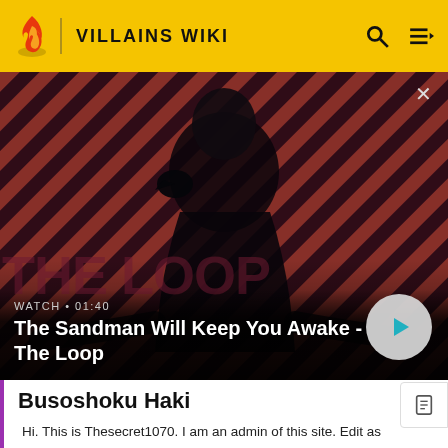VILLAINS WIKI
[Figure (screenshot): Video banner showing a dark-cloaked figure with a raven on shoulder, against a red and dark diagonal stripe background. Text overlay: WATCH · 01:40 / The Sandman Will Keep You Awake - The Loop. Play button visible.]
Busoshoku Haki
Hi. This is Thesecret1070. I am an admin of this site. Edit as much as you wish, but one little thing... If you are going to edit a lot, then make yourself a user and login. Other than that, enjoy Villains Wiki!!!